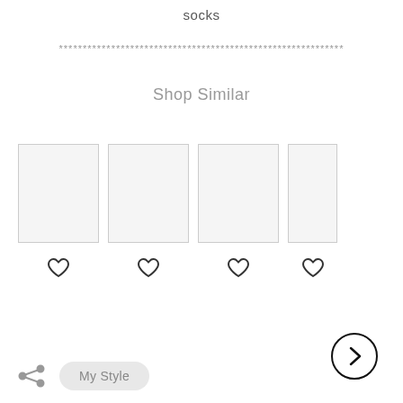socks
************************************************************
Shop Similar
[Figure (other): Four product image placeholders (empty light gray rectangles) arranged in a horizontal row, each with a heart/favorite icon below. A circular next/arrow button overlaps the last card. A share icon and 'My Style' pill button appear at the bottom left.]
My Style